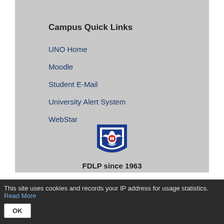Campus Quick Links
UNO Home
Moodle
Student E-Mail
University Alert System
WebStar
[Figure (logo): FDLP (Federal Depository Library Program) eagle shield logo with text 'FDLP since 1963']
Last Updated: Jun 27, 2022 10:30 AM
This site uses cookies and records your IP address for usage statistics. Read More